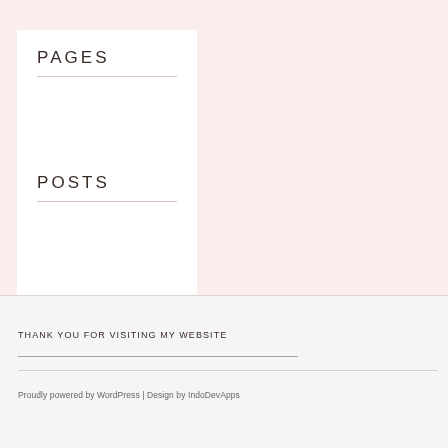PAGES
POSTS
THANK YOU FOR VISITING MY WEBSITE
Proudly powered by WordPress | Design by IndoDevApps